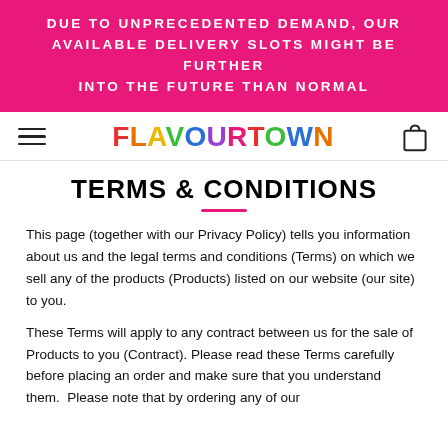DUE TO UNPRECEDENTED DEMAND, OUR AVAILABLE DELIVERY SLOTS MIGHT BE FURTHER INTO THE FUTURE THAN NORMAL
[Figure (logo): Flavourtown logo with colourful letters and hamburger menu and bag icon]
TERMS & CONDITIONS
This page (together with our Privacy Policy) tells you information about us and the legal terms and conditions (Terms) on which we sell any of the products (Products) listed on our website (our site) to you.
These Terms will apply to any contract between us for the sale of Products to you (Contract). Please read these Terms carefully before placing an order and make sure that you understand them.  Please note that by ordering any of our